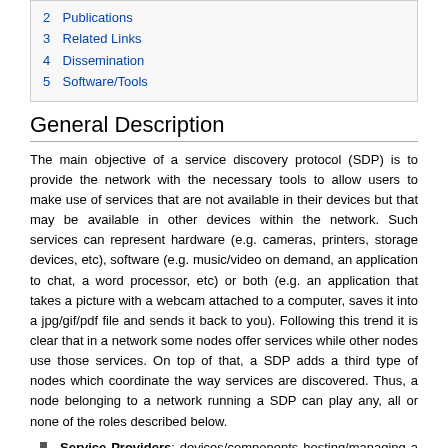2 Publications
3 Related Links
4 Dissemination
5 Software/Tools
General Description
The main objective of a service discovery protocol (SDP) is to provide the network with the necessary tools to allow users to make use of services that are not available in their devices but that may be available in other devices within the network. Such services can represent hardware (e.g. cameras, printers, storage devices, etc), software (e.g. music/video on demand, an application to chat, a word processor, etc) or both (e.g. an application that takes a picture with a webcam attached to a computer, saves it into a jpg/gif/pdf file and sends it back to you). Following this trend it is clear that in a network some nodes offer services while other nodes use those services. On top of that, a SDP adds a third type of nodes which coordinate the way services are discovered. Thus, a node belonging to a network running a SDP can play any, all or none of the roles described below.
Service Providers: devices/components hosting/managing a hardware or software service. Depending on the specific discovery protocol applied they are also known as Jini Services, Service